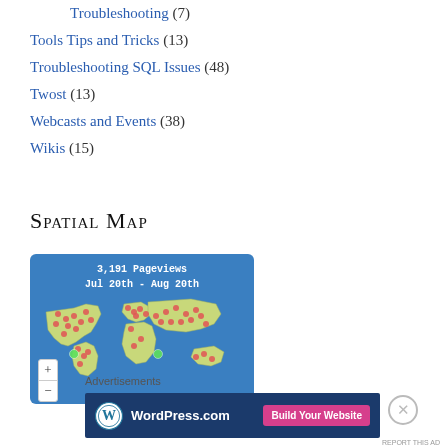Troubleshooting (7)
Tools Tips and Tricks (13)
Troubleshooting SQL Issues (48)
Twost (13)
Webcasts and Events (38)
Wikis (15)
Spatial Map
[Figure (map): World map showing 3,191 pageviews from Jul 20th to Aug 20th, with red dots clustered across North America, Europe, and Asia, and green dots in a few locations. Map has +/- zoom controls.]
Advertisements
[Figure (infographic): WordPress.com advertisement banner with logo and 'Build Your Website' button on dark navy background]